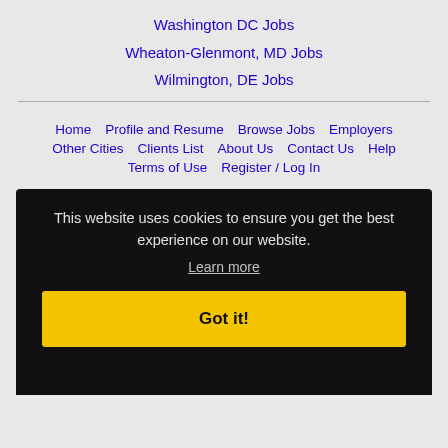Washington DC Jobs
Wheaton-Glenmont, MD Jobs
Wilmington, DE Jobs
Home | Profile and Resume | Browse Jobs | Employers | Other Cities | Clients List | About Us | Contact Us | Help | Terms of Use | Register / Log In
This website uses cookies to ensure you get the best experience on our website. Learn more
Got it!